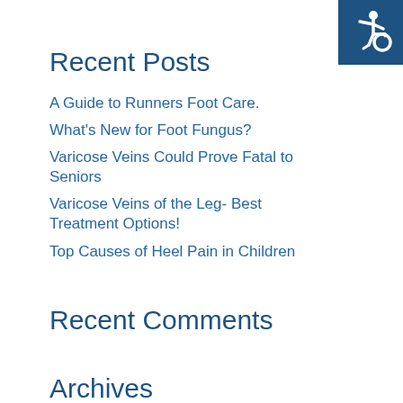[Figure (logo): Wheelchair accessibility icon on dark blue square background, top right corner]
Recent Posts
A Guide to Runners Foot Care.
What's New for Foot Fungus?
Varicose Veins Could Prove Fatal to Seniors
Varicose Veins of the Leg- Best Treatment Options!
Top Causes of Heel Pain in Children
Recent Comments
Archives
August 2022
July 2022
June 2022
May 2022